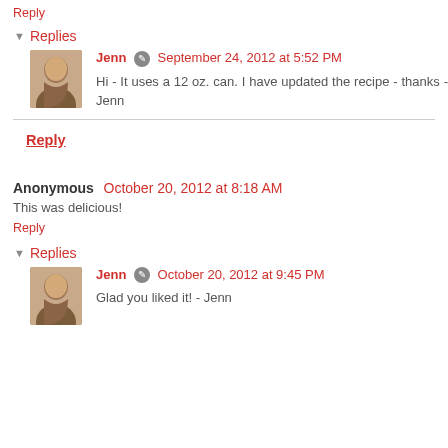Reply
▼ Replies
Jenn ✏ September 24, 2012 at 5:52 PM
Hi - It uses a 12 oz. can. I have updated the recipe - thanks - Jenn
Reply
Anonymous October 20, 2012 at 8:18 AM
This was delicious!
Reply
▼ Replies
Jenn ✏ October 20, 2012 at 9:45 PM
Glad you liked it! - Jenn